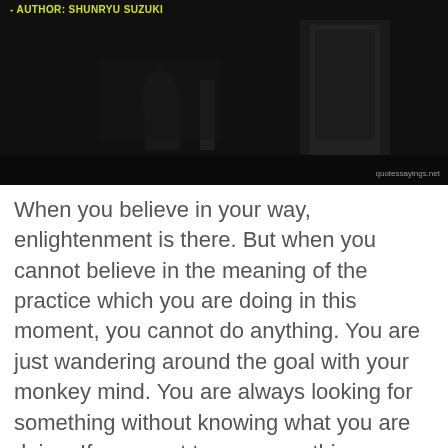[Figure (photo): Dark nighttime photo showing blurry figures or objects in low light. A watermark reads 'quotessayings.net' in the bottom right. A yellow text overlay at top reads '- AUTHOR: SHUNRYU SUZUKI'.]
When you believe in your way, enlightenment is there. But when you cannot believe in the meaning of the practice which you are doing in this moment, you cannot do anything. You are just wandering around the goal with your monkey mind. You are always looking for something without knowing what you are doing. If you want to see something, you should open your eyes. When you do not understand Bodhidharma's Zen, you are trying to look at something with your eyes closed. We do not slight the idea of attaining enlightenment, but the most important thing is this